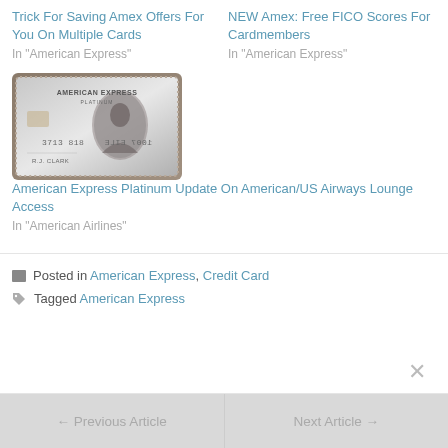Trick For Saving Amex Offers For You On Multiple Cards
In "American Express"
NEW Amex: Free FICO Scores For Cardmembers
In "American Express"
[Figure (photo): American Express Platinum credit card image, silver/platinum colored card with portrait emblem, showing number 3713 818 4001 and name R.J. CLARK]
American Express Platinum Update On American/US Airways Lounge Access
In "American Airlines"
Posted in American Express, Credit Card
Tagged American Express
← Previous Article
Next Article →